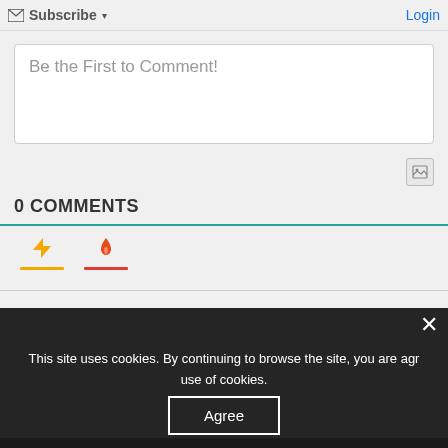Subscribe ▾   Login
Be the First to Comment!
0 COMMENTS
This site uses cookies. By continuing to browse the site, you are agreeing to our use of cookies.
Agree